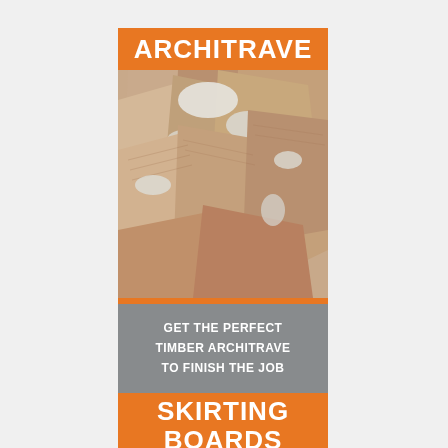ARCHITRAVE
[Figure (photo): Close-up photograph of stacked timber architrave pieces showing wood grain and cut ends]
GET THE PERFECT TIMBER ARCHITRAVE TO FINISH THE JOB
SKIRTING BOARDS